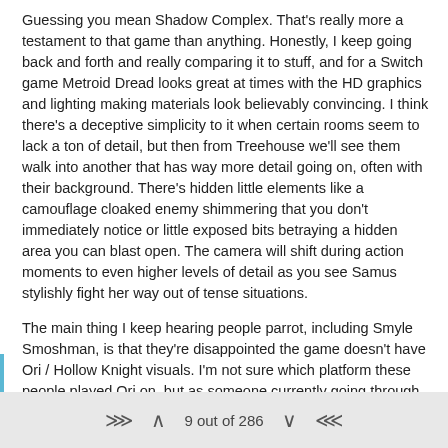Guessing you mean Shadow Complex. That's really more a testament to that game than anything. Honestly, I keep going back and forth and really comparing it to stuff, and for a Switch game Metroid Dread looks great at times with the HD graphics and lighting making materials look believably convincing. I think there's a deceptive simplicity to it when certain rooms seem to lack a ton of detail, but then from Treehouse we'll see them walk into another that has way more detail going on, often with their background. There's hidden little elements like a camouflage cloaked enemy shimmering that you don't immediately notice or little exposed bits betraying a hidden area you can blast open. The camera will shift during action moments to even higher levels of detail as you see Samus stylishly fight her way out of tense situations.
The main thing I keep hearing people parrot, including Smyle Smoshman, is that they're disappointed the game doesn't have Ori / Hollow Knight visuals. I'm not sure which platform these people played Ori on, but as someone currently going through the second game on Switch, stuff in that is pretty damn blurry to pack that level of detail on the hardware. I've run into a ton of technical hiccups with the game too. Hollow Knight is a stronger argument, but I also just
9 out of 286